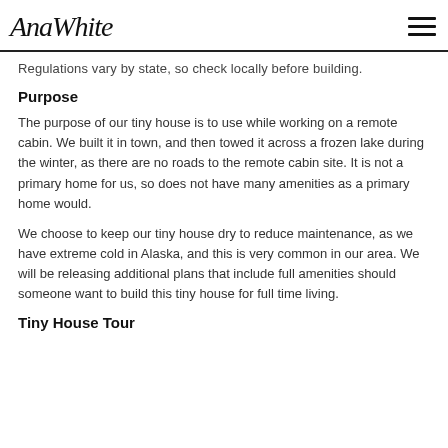AnaWhite
Regulations vary by state, so check locally before building.
Purpose
The purpose of our tiny house is to use while working on a remote cabin.  We built it in town, and then towed it across a frozen lake during the winter, as there are no roads to the remote cabin site.  It is not a primary home for us, so does not have many amenities as a primary home would.
We choose to keep our tiny house dry to reduce maintenance, as we have extreme cold in Alaska, and this is very common in our area.  We will be releasing additional plans that include full amenities should someone want to build this tiny house for full time living.
Tiny House Tour